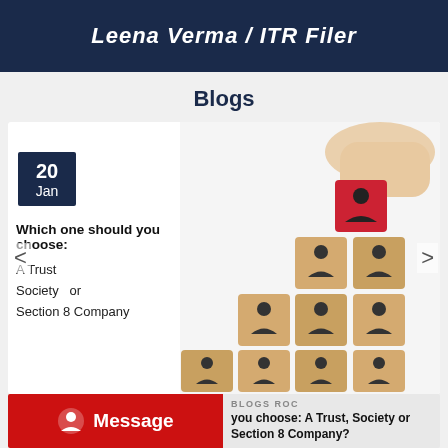Leena Verma / ITR Filer
Blogs
[Figure (photo): Hand placing a red cube with person icon on top of a pyramid of wooden cubes with person icons. Date badge shows 20 Jan. Card text reads: Which one should you choose: A Trust, Society or Section 8 Company]
Which one should you choose:
A Trust
Society  or
Section 8 Company
[Figure (infographic): Red Message button with alien/user icon on left; blog tag BLOGS ROC and excerpt text on right]
BLOGS ROC
you choose: A Trust, Society or Section 8 Company?